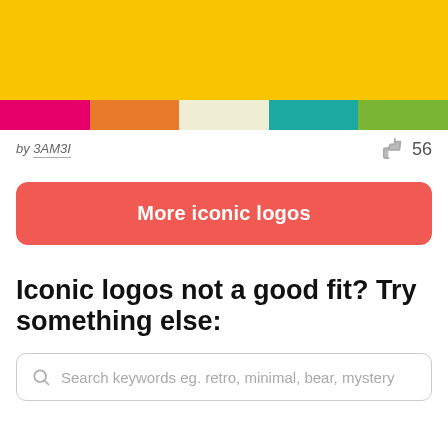[Figure (illustration): Color palette image showing a large yellow block on top and five color swatches below: pink, orange, cream/light yellow, teal, and green.]
by 3AM3I
56
More iconic logos
Iconic logos not a good fit? Try something else:
Search keywords eg. retro, minimal, bear, mystery